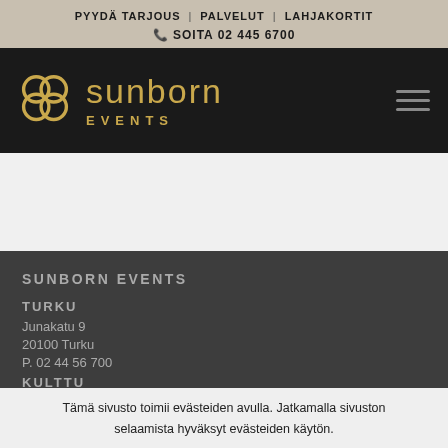PYYDÄ TARJOUS | PALVELUT | LAHJAKORTIT
📞 SOITA 02 445 6700
[Figure (logo): Sunborn Events logo — golden interlocking rings with 'sunborn EVENTS' text in gold on dark background, with hamburger menu icon]
SUNBORN EVENTS
TURKU
Junakatu 9
20100 Turku
P. 02 44 56 700
KULTTUURI
Tämä sivusto toimii evästeiden avulla. Jatkamalla sivuston selaamista hyväksyt evästeiden käytön.